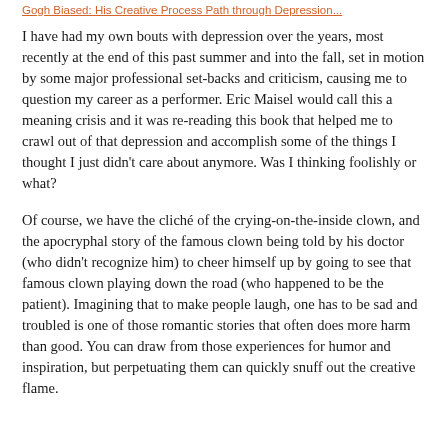Gogh Biased: His Creative Process Path through Depression...
I have had my own bouts with depression over the years, most recently at the end of this past summer and into the fall, set in motion by some major professional set-backs and criticism, causing me to question my career as a performer. Eric Maisel would call this a meaning crisis and it was re-reading this book that helped me to crawl out of that depression and accomplish some of the things I thought I just didn't care about anymore. Was I thinking foolishly or what?
Of course, we have the cliché of the crying-on-the-inside clown, and the apocryphal story of the famous clown being told by his doctor (who didn't recognize him) to cheer himself up by going to see that famous clown playing down the road (who happened to be the patient). Imagining that to make people laugh, one has to be sad and troubled is one of those romantic stories that often does more harm than good. You can draw from those experiences for humor and inspiration, but perpetuating them can quickly snuff out the creative flame.